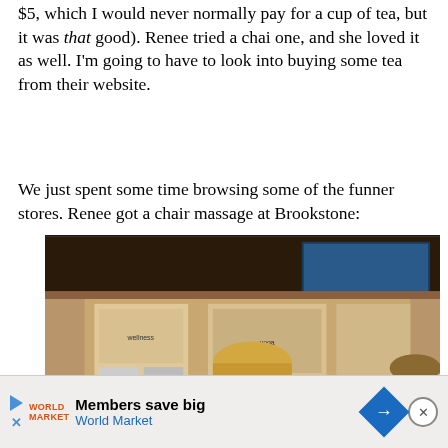$5, which I would never normally pay for a cup of tea, but it was that good). Renee tried a chai one, and she loved it as well. I'm going to have to look into buying some tea from their website.
We just spent some time browsing some of the funner stores. Renee got a chair massage at Brookstone:
[Figure (photo): Photo of a woman (Renee) reclining in a massage chair at a Brookstone store, eyes closed and relaxed. Another person is visible to the right also in a massage chair. Store displays and product posters are visible in the background along with a TV screen.]
[Figure (screenshot): Advertisement banner at the bottom: Shows play button icon, World Market logo, text 'Members save big' and 'World Market' in blue, a blue diamond arrow icon, and an X close button.]